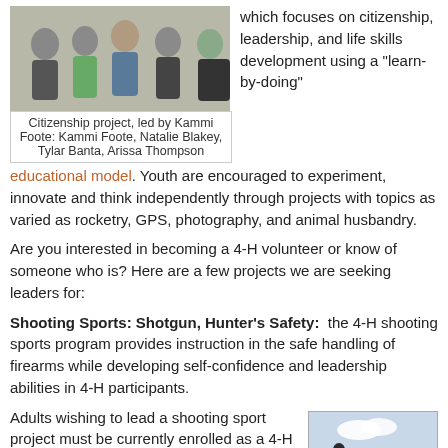[Figure (photo): Group photo of four people: Kammi Foote, Natalie Blakey, Tylar Banta, Arissa Thompson, related to a Citizenship project]
Citizenship project, led by Kammi Foote: Kammi Foote, Natalie Blakey, Tylar Banta, Arissa Thompson
which focuses on citizenship, leadership, and life skills development using a "learn-by-doing" educational model. Youth are encouraged to experiment, innovate and think independently through projects with topics as varied as rocketry, GPS, photography, and animal husbandry.
Are you interested in becoming a 4-H volunteer or know of someone who is? Here are a few projects we are seeking leaders for:
Shooting Sports: Shotgun, Hunter's Safety:  the 4-H shooting sports program provides instruction in the safe handling of firearms while developing self-confidence and leadership abilities in 4-H participants.
Adults wishing to lead a shooting sport project must be currently enrolled as a 4-H shooting sports adult volunteer.
[Figure (photo): Photo related to shooting sports, showing an outdoor scene]